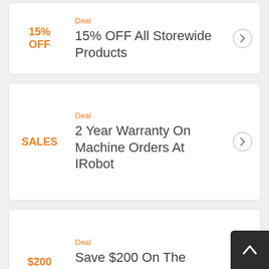Deal
15% OFF
15% OFF All Storewide Products
Deal
SALES
2 Year Warranty On Machine Orders At IRobot
Deal
$200 OFF
Save $200 On The Roomba J7 Robot Vacuum